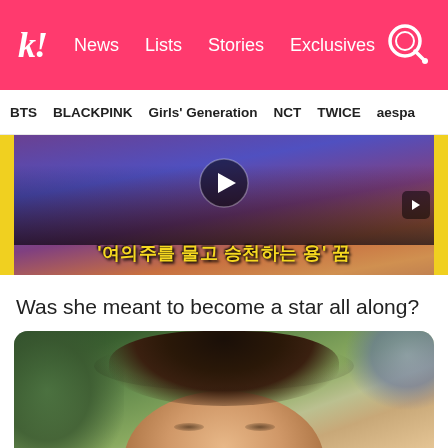k! News Lists Stories Exclusives
BTS BLACKPINK Girls' Generation NCT TWICE aespa
[Figure (screenshot): Video thumbnail showing Korean text overlay '여의주를 물고 승천하는 용' 꿈 on a dramatic purple/orange background with a play button and navigation arrows]
Was she meant to become a star all along?
[Figure (photo): Close-up photo of a young Korean woman with brown hair against a blurred green and blue background]